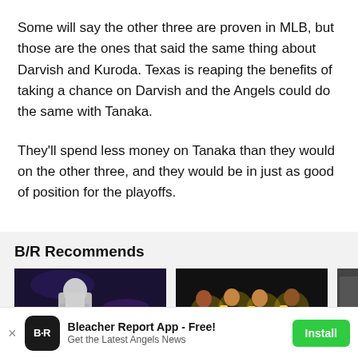Some will say the other three are proven in MLB, but those are the ones that said the same thing about Darvish and Kuroda. Texas is reaping the benefits of taking a chance on Darvish and the Angels could do the same with Tanaka.
They'll spend less money on Tanaka than they would on the other three, and they would be in just as good of position for the playoffs.
B/R Recommends
[Figure (photo): Photo of a wrestler or athlete in a dark arena setting]
[Figure (photo): Photo of a group of athletes celebrating with hats and gear]
[Figure (photo): Partially visible third photo thumbnail]
Bleacher Report App - Free! Get the Latest Angels News  Install